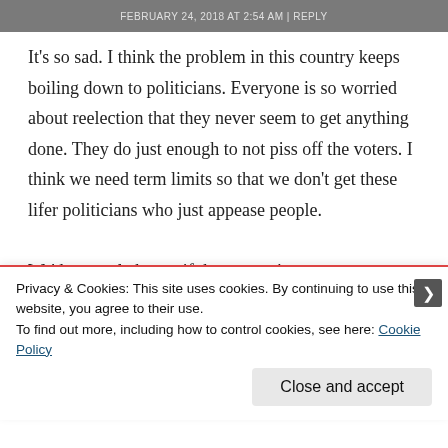FEBRUARY 24, 2018 AT 2:54 AM | REPLY
It's so sad. I think the problem in this country keeps boiling down to politicians. Everyone is so worried about reelection that they never seem to get anything done. They do just enough to not piss off the voters. I think we need term limits so that we don't get these lifer politicians who just appease people. We'd see real change if they weren't so
Privacy & Cookies: This site uses cookies. By continuing to use this website, you agree to their use.
To find out more, including how to control cookies, see here: Cookie Policy